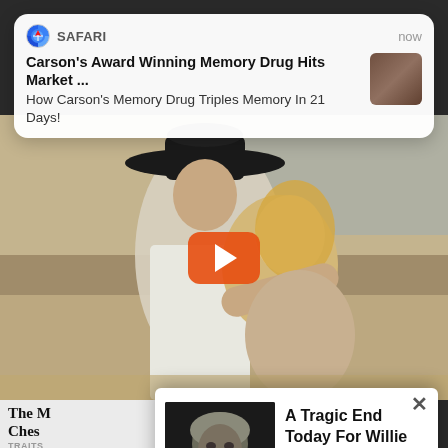[Figure (screenshot): Safari browser notification overlay showing: app name SAFARI, timestamp 'now', headline 'Carson's Award Winning Memory Drug Hits Market ...' and subtitle 'How Carson's Memory Drug Triples Memory In 21 Days!' with a small thumbnail photo]
[Figure (photo): A couple embracing outdoors near a beach — man wearing a black cowboy hat and white shirt holding a blonde woman — with a YouTube-style orange play button overlay in the center]
The M
Ches
TRAITS
[Figure (screenshot): Ad popup overlay with an X close button, showing a photo of an elderly man (Willie Nelson) on the left and text 'A Tragic End Today For Willie Nelson' with 'Breaking News' label on the right]